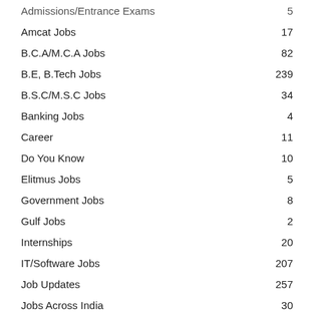Admissions/Entrance Exams  5
Amcat Jobs  17
B.C.A/M.C.A Jobs  82
B.E, B.Tech Jobs  239
B.S.C/M.S.C Jobs  34
Banking Jobs  4
Career  11
Do You Know  10
Elitmus Jobs  5
Government Jobs  8
Gulf Jobs  2
Internships  20
IT/Software Jobs  207
Job Updates  257
Jobs Across India  30
Jobs in AndhraPradesh  7